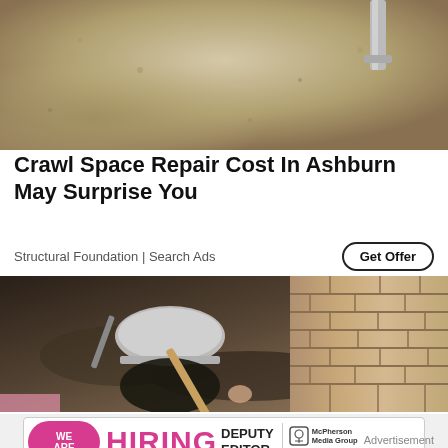[Figure (photo): Top-down view of sandy/dusty crawl space floor with a pipe visible in the upper right corner]
Crawl Space Repair Cost In Ashburn May Surprise You
Structural Foundation | Search Ads
[Figure (photo): Worker in a baseball cap using a shovel/tool in a narrow crawl space beside a brick wall, digging in dark soil]
[Figure (infographic): Ad banner: WE ARE HIRING DEPUTY EDITOR — McPherson Media Group LEARN MORE]
Advertisement